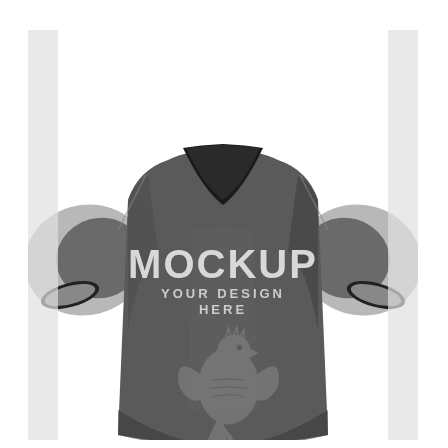[Figure (illustration): A 3D mockup of a dark gray/charcoal sports jersey (football/soccer style) with a V-neck collar in black, short sleeves with light gray panels on the outside and black trim at cuffs. The front of the jersey displays the text 'MOCKUP' in large bold white letters, below which reads 'YOUR DESIGN HERE' in smaller white uppercase letters. A decorative heraldic griffin/eagle emblem is printed in a slightly lighter gray tone on the lower front of the jersey. The jersey is shown at a slight angle (three-quarter view) against a white background.]